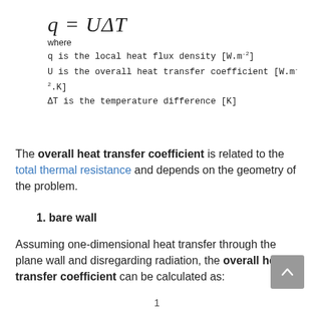where
q is the local heat flux density [W.m⁻²]
U is the overall heat transfer coefficient [W.m⁻².K]
ΔT is the temperature difference [K]
The overall heat transfer coefficient is related to the total thermal resistance and depends on the geometry of the problem.
1. bare wall
Assuming one-dimensional heat transfer through the plane wall and disregarding radiation, the overall heat transfer coefficient can be calculated as:
1